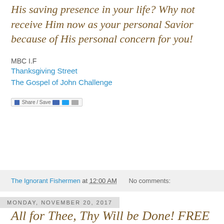His saving presence in your life? Why not receive Him now as your personal Savior because of His personal concern for you!
MBC I.F
Thanksgiving Street
The Gospel of John Challenge
[Figure (other): Share/Save social media button bar with Facebook, Twitter, and other share icons]
The Ignorant Fishermen at 12:00 AM   No comments:
Monday, November 20, 2017
All for Thee, Thy Will be Done! FREE